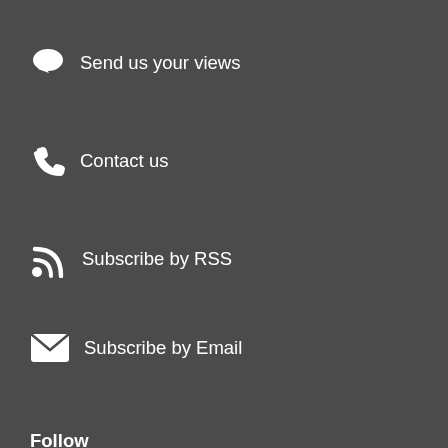Send us your views
Contact us
Subscribe by RSS
Subscribe by Email
Follow
Tim Farron Twitter
Tim Farron Facebook